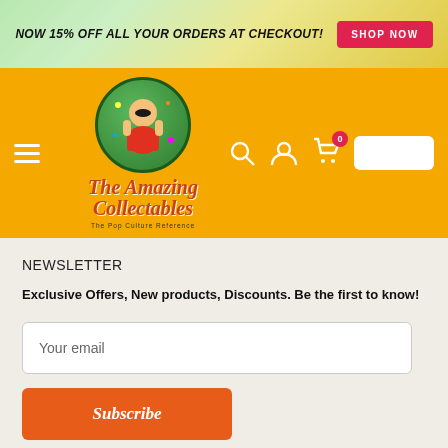NOW 15% OFF ALL YOUR ORDERS AT CHECKOUT! SHOP NOW
[Figure (logo): The Amazing Collectables logo with cartoon character in green circle, orange background navbar with hamburger menu, search, account, cart icons]
NEWSLETTER
Exclusive Offers, New products, Discounts. Be the first to know!
Your email
Subscribe